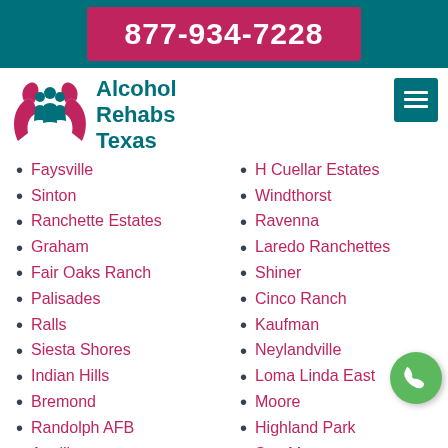877-934-7228
Alcohol Rehabs Texas
Faysville
Sinton
Ranchette Estates
Graham
Fair Oaks Ranch
Palisades
Ralls
Siesta Shores
Indian Hills
Bremond
Randolph AFB
Aquilla
Muniz
Encino
H Cuellar Estates
Windthorst
Ravenna
Laredo Ranchettes
Shiner
Cinco Ranch
Kaufman
Neylandville
Loma Linda East
Moore
Highland Park
San Marcos
Lowry Crossing
Yorktown